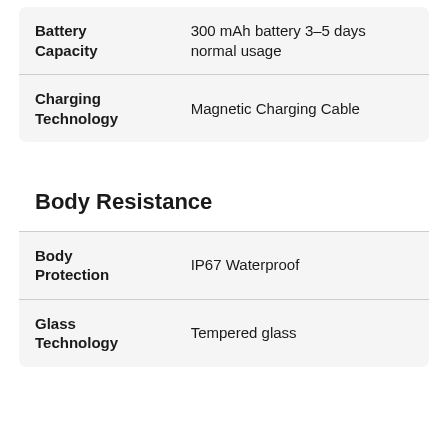| Feature | Value |
| --- | --- |
| Battery Capacity | 300 mAh battery 3–5 days normal usage |
| Charging Technology | Magnetic Charging Cable |
| Feature | Value |
| --- | --- |
| Body Resistance |  |
| Body Protection | IP67 Waterproof |
| Glass Technology | Tempered glass |